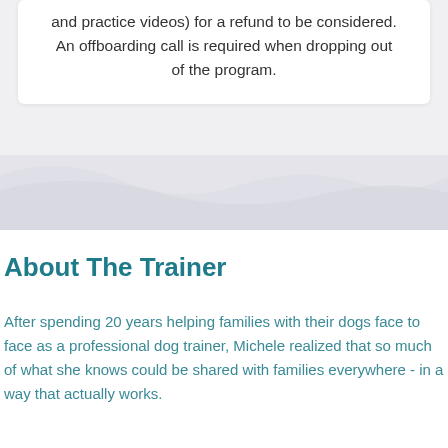and practice videos) for a refund to be considered. An offboarding call is required when dropping out of the program.
[Figure (illustration): Decorative wave/banner background area separating the card from the section below]
About The Trainer
After spending 20 years helping families with their dogs face to face as a professional dog trainer, Michele realized that so much of what she knows could be shared with families everywhere - in a way that actually works.